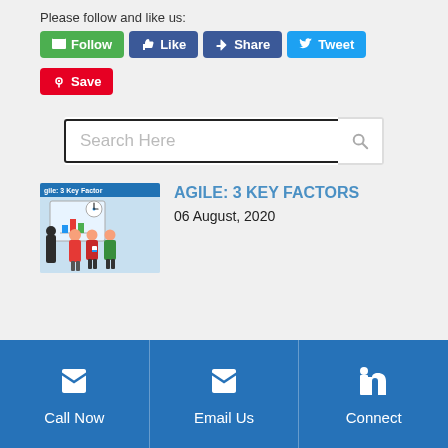Please follow and like us:
[Figure (screenshot): Social media buttons: Follow (green), Like (blue), Share (Facebook blue), Tweet (Twitter blue), Save (Pinterest red)]
[Figure (screenshot): Search bar with placeholder text 'Search Here' and a magnifying glass icon on the right]
[Figure (illustration): Thumbnail image for 'Agile: 3 Key Factors' article showing people at a whiteboard with a clock]
AGILE: 3 KEY FACTORS
06 August, 2020
Call Now | Email Us | Connect